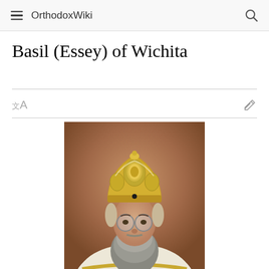OrthodoxWiki
Basil (Essey) of Wichita
[Figure (photo): Portrait photograph of Bishop Basil (Essey) of Wichita wearing ornate golden Orthodox bishop's mitre and white vestments with gold embroidery, with a beard and glasses, against a brown background.]